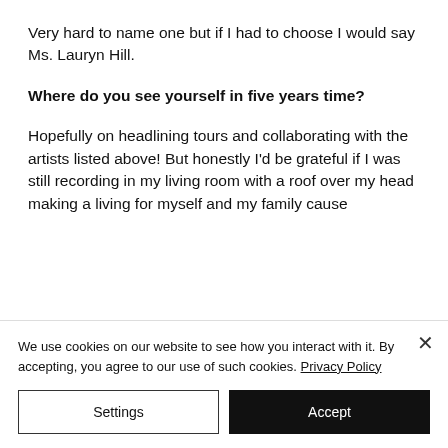Very hard to name one but if I had to choose I would say Ms. Lauryn Hill.
Where do you see yourself in five years time?
Hopefully on headlining tours and collaborating with the artists listed above! But honestly I'd be grateful if I was still recording in my living room with a roof over my head making a living for myself and my family cause
We use cookies on our website to see how you interact with it. By accepting, you agree to our use of such cookies. Privacy Policy